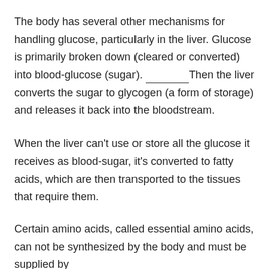The body has several other mechanisms for handling glucose, particularly in the liver. Glucose is primarily broken down (cleared or converted) into blood-glucose (sugar). ________Then the liver converts the sugar to glycogen (a form of storage) and releases it back into the bloodstream.
When the liver can't use or store all the glucose it receives as blood-sugar, it's converted to fatty acids, which are then transported to the tissues that require them.
Certain amino acids, called essential amino acids, can not be synthesized by the body and must be supplied by